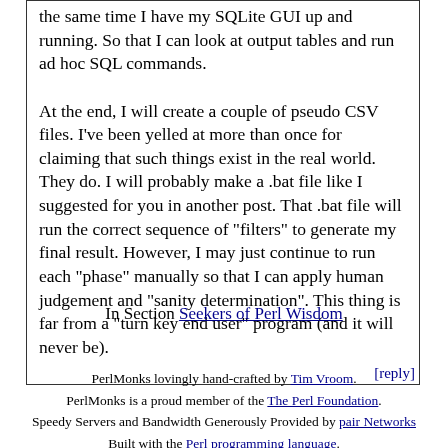the same time I have my SQLite GUI up and running. So that I can look at output tables and run ad hoc SQL commands.

At the end, I will create a couple of pseudo CSV files. I've been yelled at more than once for claiming that such things exist in the real world. They do. I will probably make a .bat file like I suggested for you in another post. That .bat file will run the correct sequence of "filters" to generate my final result. However, I may just continue to run each "phase" manually so that I can apply human judgement and "sanity determination". This thing is far from a "turn key end user" program (and it will never be).
[reply]
In Section Seekers of Perl Wisdom
PerlMonks lovingly hand-crafted by Tim Vroom.
PerlMonks is a proud member of the The Perl Foundation.
Speedy Servers and Bandwidth Generously Provided by pair Networks
Built with the Perl programming language.